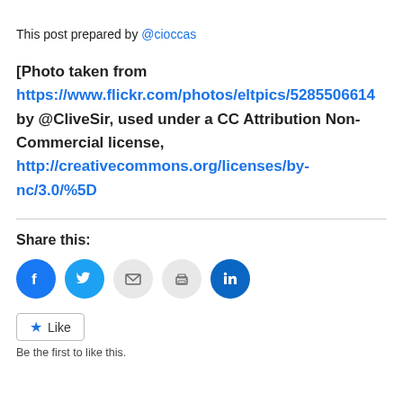This post prepared by @cioccas
[Photo taken from https://www.flickr.com/photos/eltpics/5285506614 by @CliveSir, used under a CC Attribution Non-Commercial license, http://creativecommons.org/licenses/by-nc/3.0/%5D
Share this:
[Figure (infographic): Social sharing icons: Facebook, Twitter, Email, Print, LinkedIn]
Like
Be the first to like this.